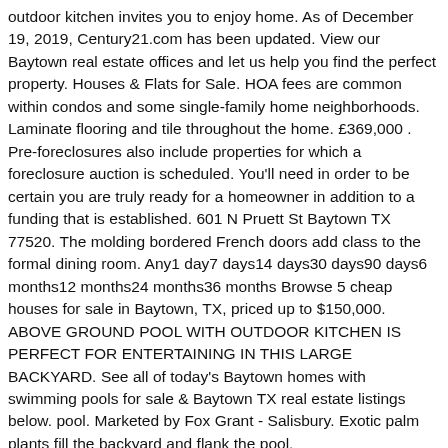outdoor kitchen invites you to enjoy home. As of December 19, 2019, Century21.com has been updated. View our Baytown real estate offices and let us help you find the perfect property. Houses & Flats for Sale. HOA fees are common within condos and some single-family home neighborhoods. Laminate flooring and tile throughout the home. £369,000 . Pre-foreclosures also include properties for which a foreclosure auction is scheduled. You'll need in order to be certain you are truly ready for a homeowner in addition to a funding that is established. 601 N Pruett St Baytown TX 77520. The molding bordered French doors add class to the formal dining room. Any1 day7 days14 days30 days90 days6 months12 months24 months36 months Browse 5 cheap houses for sale in Baytown, TX, priced up to $150,000. ABOVE GROUND POOL WITH OUTDOOR KITCHEN IS PERFECT FOR ENTERTAINING IN THIS LARGE BACKYARD. See all of today's Baytown homes with swimming pools for sale & Baytown TX real estate listings below. pool. Marketed by Fox Grant - Salisbury. Exotic palm plants fill the backyard and flank the pool.